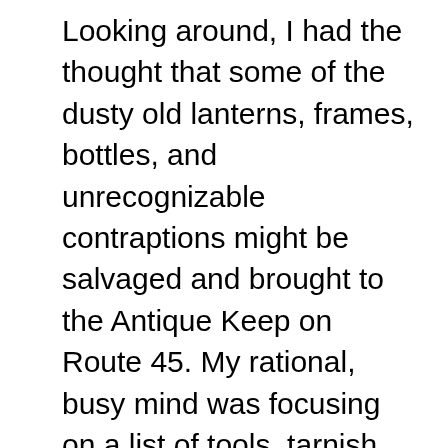Looking around, I had the thought that some of the dusty old lanterns, frames, bottles, and unrecognizable contraptions might be salvaged and brought to the Antique Keep on Route 45. My rational, busy mind was focusing on a list of tools, tarnish removers and hardware I'd need to repair some of the items, but I had to admit it was in the back of my mind to look for the basket I'd seen her holding. How is it that I can recall it in so much detail? The handle and ends were solid, like wood or metal, and the front and back were some sort of mesh. An egg basket? Was she a farm wife who had lived here?